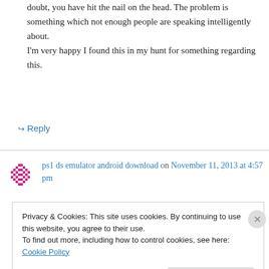doubt, you have hit the nail on the head. The problem is something which not enough people are speaking intelligently about. I'm very happy I found this in my hunt for something regarding this.
↳ Reply
ps1 ds emulator android download on November 11, 2013 at 4:57 pm
Privacy & Cookies: This site uses cookies. By continuing to use this website, you agree to their use. To find out more, including how to control cookies, see here: Cookie Policy
Close and accept